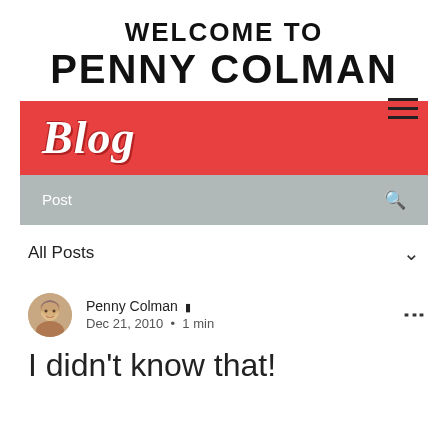WELCOME TO PENNY COLMAN
[Figure (other): Hamburger menu icon (three horizontal lines)]
Blog
Post
All Posts
[Figure (photo): Circular avatar photo of Penny Colman, an older woman with short gray hair]
Penny Colman ■ Dec 21, 2010 • 1 min
I didn't know that!